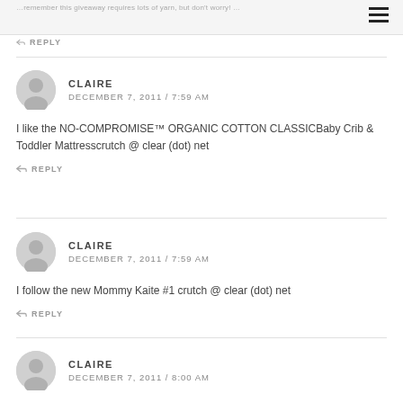…remember this giveaway requires lots of yarn, but don't worry! …
REPLY
CLAIRE
DECEMBER 7, 2011 / 7:59 AM
I like the NO-COMPROMISE™ ORGANIC COTTON CLASSICBaby Crib & Toddler Mattresscrutch @ clear (dot) net
REPLY
CLAIRE
DECEMBER 7, 2011 / 7:59 AM
I follow the new Mommy Kaite #1 crutch @ clear (dot) net
REPLY
CLAIRE
DECEMBER 7, 2011 / 8:00 AM